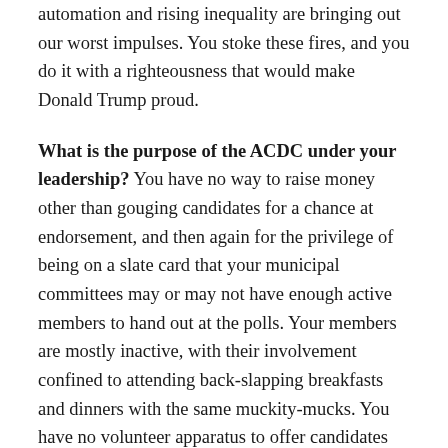automation and rising inequality are bringing out our worst impulses. You stoke these fires, and you do it with a righteousness that would make Donald Trump proud.
What is the purpose of the ACDC under your leadership? You have no way to raise money other than gouging candidates for a chance at endorsement, and then again for the privilege of being on a slate card that your municipal committees may or may not have enough active members to hand out at the polls. Your members are mostly inactive, with their involvement confined to attending back-slapping breakfasts and dinners with the same muckity-mucks. You have no volunteer apparatus to offer candidates who need door knockers and phone callers and donors and postcard writers. You can't articulate a platform to unify the County. You refuse to engage with the countless new